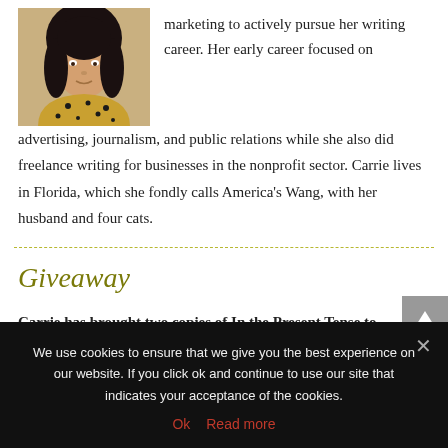[Figure (photo): Author photo: woman with dark hair wearing a patterned mustard/gold top]
marketing to actively pursue her writing career. Her early career focused on advertising, journalism, and public relations while she also did freelance writing for businesses in the nonprofit sector. Carrie lives in Florida, which she fondly calls America's Wang, with her husband and four cats.
Giveaway
Carrie has brought two copies of In the Present Tense to
We use cookies to ensure that we give you the best experience on our website. If you click ok and continue to use our site that indicates your acceptance of the cookies.